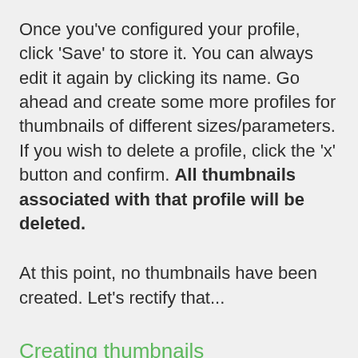Once you've configured your profile, click 'Save' to store it. You can always edit it again by clicking its name. Go ahead and create some more profiles for thumbnails of different sizes/parameters. If you wish to delete a profile, click the 'x' button and confirm. All thumbnails associated with that profile will be deleted.
At this point, no thumbnails have been created. Let's rectify that...
Creating thumbnails
Pick one of your images and click to edit it